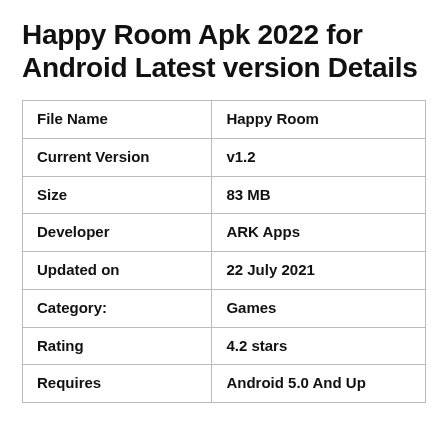Happy Room Apk 2022 for Android Latest version Details
| File Name | Happy Room |
| Current Version | v1.2 |
| Size | 83 MB |
| Developer | ARK Apps |
| Updated on | 22 July 2021 |
| Category: | Games |
| Rating | 4.2 stars |
| Requires | Android 5.0 And Up |